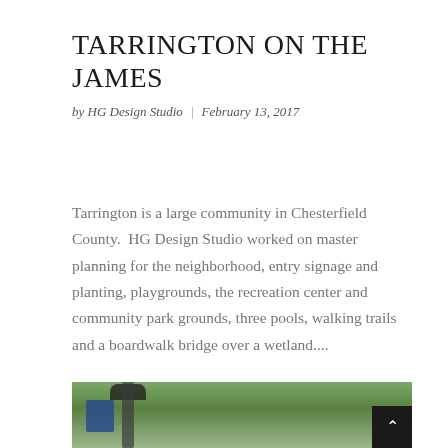TARRINGTON ON THE JAMES
by HG Design Studio | February 13, 2017
Tarrington is a large community in Chesterfield County.  HG Design Studio worked on master planning for the neighborhood, entry signage and planting, playgrounds, the recreation center and community park grounds, three pools, walking trails and a boardwalk bridge over a wetland....
[Figure (photo): Outdoor photo showing a street lamp, trees, and a building with arched windows at Tarrington on the James community]